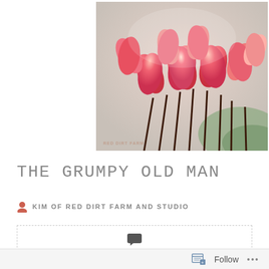[Figure (photo): Close-up photograph of pink and red cyclamen flowers with swept-back petals on dark stems, with 'RED DIRT FARM' watermark in lower left corner]
THE GRUMPY OLD MAN
KIM OF RED DIRT FARM AND STUDIO
20 COMMENTS
Follow ...